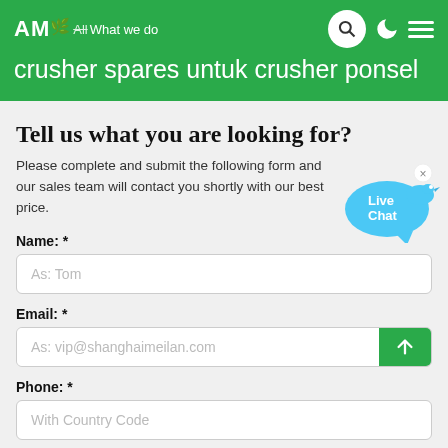AMC — What we do
crusher spares untuk crusher ponsel
Tell us what you are looking for?
Please complete and submit the following form and our sales team will contact you shortly with our best price.
Name: *
As: Tom
Email: *
As: vip@shanghaimeilan.com
Phone: *
With Country Code
[Figure (infographic): Live Chat speech bubble with 'Live Chat' text and a blue bird icon, with a close (x) button in upper right corner]